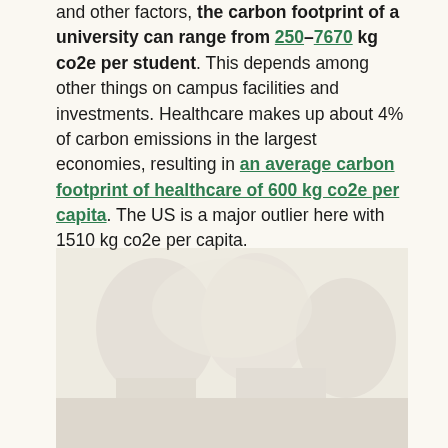and other factors, the carbon footprint of a university can range from 250–7670 kg co2e per student. This depends among other things on campus facilities and investments. Healthcare makes up about 4% of carbon emissions in the largest economies, resulting in an average carbon footprint of healthcare of 600 kg co2e per capita. The US is a major outlier here with 1510 kg co2e per capita.
[Figure (photo): Faded/watermarked background image, partially visible, appears to show an environmental or campus-related photograph.]